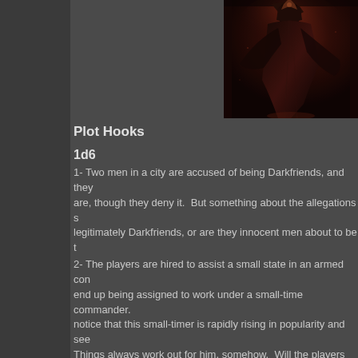[Figure (illustration): Dark fantasy illustration showing a robed figure in dark crimson/brown tones in what appears to be a dungeon or castle setting]
Plot Hooks
1d6
1- Two men in a city are accused of being Darkfriends, and they are, though they deny it.  But something about the allegations s... legitimately Darkfriends, or are they innocent men about to be t...
2- The players are hired to assist a small state in an armed con... end up being assigned to work under a small-time commander. notice that this small-timer is rapidly rising in popularity and see... Things always work out for him, somehow.  Will the players inve... they not realize it until too late?
3- Priests and members of the clerical class are being murdere... seem to be unrelated to each other, but a little digging reveals t... at the edge of the city.  However, when the players go to destro... stronger than they predicted.  The Cult likely drive them back, t... on the city at large.
4- A crime boss has hired a group of thieves to steal a holy artif...